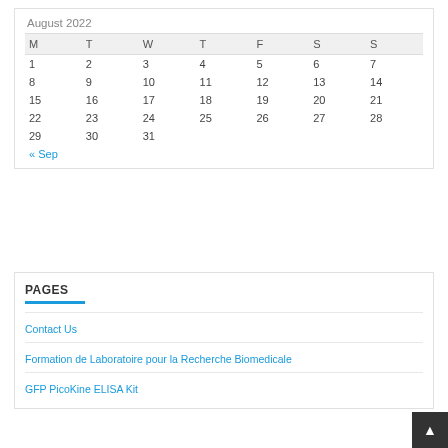| M | T | W | T | F | S | S |
| --- | --- | --- | --- | --- | --- | --- |
| 1 | 2 | 3 | 4 | 5 | 6 | 7 |
| 8 | 9 | 10 | 11 | 12 | 13 | 14 |
| 15 | 16 | 17 | 18 | 19 | 20 | 21 |
| 22 | 23 | 24 | 25 | 26 | 27 | 28 |
| 29 | 30 | 31 |  |  |  |  |
« Sep
PAGES
Contact Us
Formation de Laboratoire pour la Recherche Biomedicale
GFP PicoKine ELISA Kit